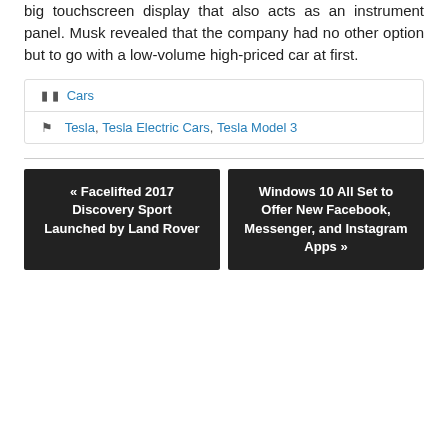big touchscreen display that also acts as an instrument panel. Musk revealed that the company had no other option but to go with a low-volume high-priced car at first.
Cars
Tesla, Tesla Electric Cars, Tesla Model 3
« Facelifted 2017 Discovery Sport Launched by Land Rover
Windows 10 All Set to Offer New Facebook, Messenger, and Instagram Apps »